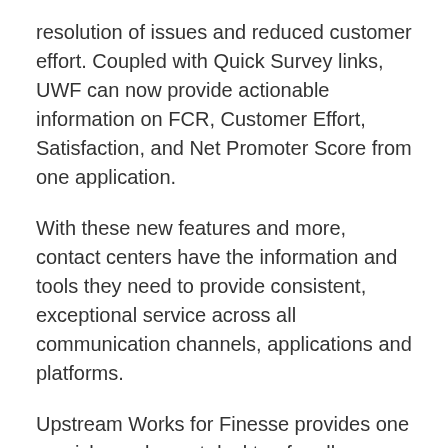resolution of issues and reduced customer effort. Coupled with Quick Survey links, UWF can now provide actionable information on FCR, Customer Effort, Satisfaction, and Net Promoter Score from one application.
With these new features and more, contact centers have the information and tools they need to provide consistent, exceptional service across all communication channels, applications and platforms.
Upstream Works for Finesse provides one omnichannel agent desktop for all channels and all interactions, and unified management. With enhanced visibility and deeper insights across all channels, agents can provide more personalized customer engagements and business leaders can make more informed decisions about their contact center operations.